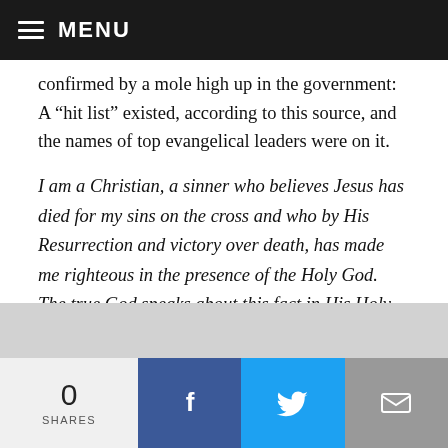MENU
confirmed by a mole high up in the government: A “hit list” existed, according to this source, and the names of top evangelical leaders were on it.
I am a Christian, a sinner who believes Jesus has died for my sins on the cross and who by His Resurrection and victory over death, has made me righteous in the presence of the Holy God. The true God speaks about this fact in His Holy Word, the Gospel. Jesus means Savior “because He will save His people from their sins.” Jesus paid the penalty of our sins by His Own
0 SHARES